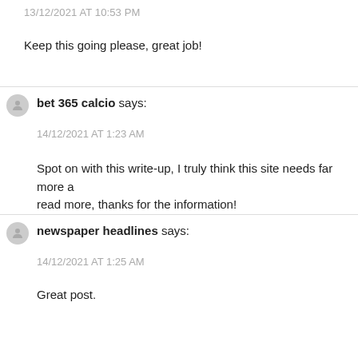13/12/2021 AT 10:53 PM
Keep this going please, great job!
bet 365 calcio says:
14/12/2021 AT 1:23 AM
Spot on with this write-up, I truly think this site needs far more attention. I'll probably be back to read more, thanks for the information!
newspaper headlines says:
14/12/2021 AT 1:25 AM
Great post.